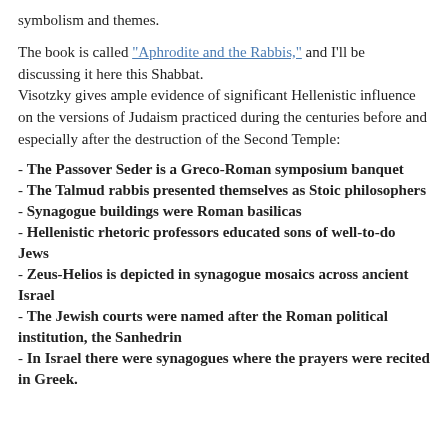symbolism and themes.
The book is called "Aphrodite and the Rabbis," and I'll be discussing it here this Shabbat.
Visotzky gives ample evidence of significant Hellenistic influence on the versions of Judaism practiced during the centuries before and especially after the destruction of the Second Temple:
- The Passover Seder is a Greco-Roman symposium banquet
- The Talmud rabbis presented themselves as Stoic philosophers
- Synagogue buildings were Roman basilicas
- Hellenistic rhetoric professors educated sons of well-to-do Jews
- Zeus-Helios is depicted in synagogue mosaics across ancient Israel
- The Jewish courts were named after the Roman political institution, the Sanhedrin
- In Israel there were synagogues where the prayers were recited in Greek.